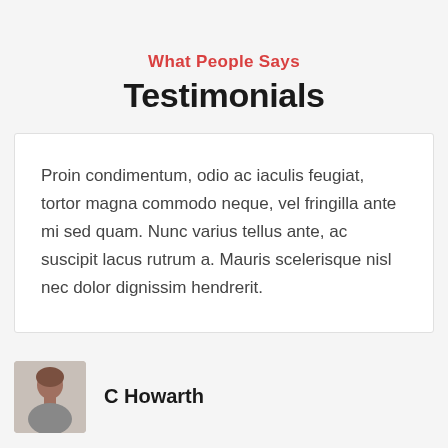What People Says
Testimonials
Proin condimentum, odio ac iaculis feugiat, tortor magna commodo neque, vel fringilla ante mi sed quam. Nunc varius tellus ante, ac suscipit lacus rutrum a. Mauris scelerisque nisl nec dolor dignissim hendrerit.
C Howarth